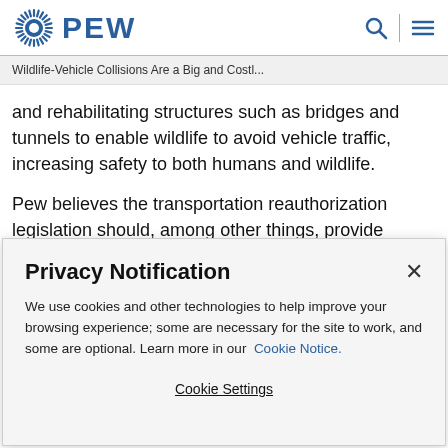PEW
Wildlife-Vehicle Collisions Are a Big and Costl...
and rehabilitating structures such as bridges and tunnels to enable wildlife to avoid vehicle traffic, increasing safety to both humans and wildlife.
Pew believes the transportation reauthorization legislation should, among other things, provide competitive matching grants for states, municipalities, and tribes to undertake
Privacy Notification
We use cookies and other technologies to help improve your browsing experience; some are necessary for the site to work, and some are optional. Learn more in our Cookie Notice.
Cookie Settings